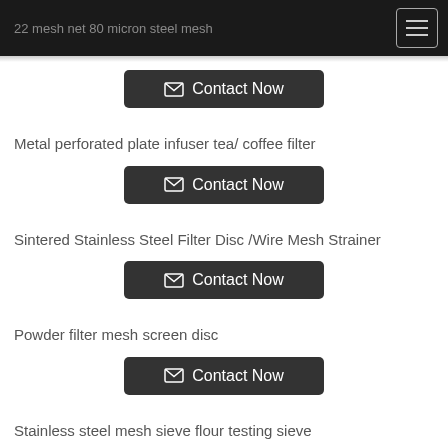22 mesh net 80 micron steel mesh
Metal perforated plate infuser tea/ coffee filter
Sintered Stainless Steel Filter Disc /Wire Mesh Strainer
Powder filter mesh screen disc
Stainless steel mesh sieve flour testing sieve